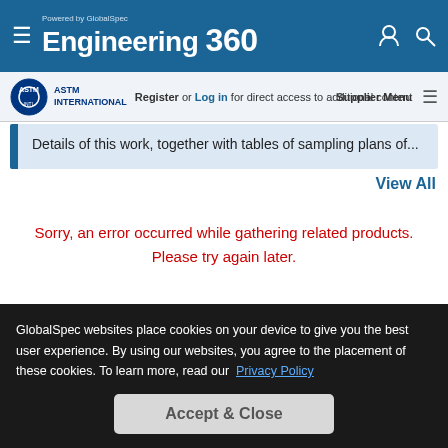Powered by GlobalSpec Engineering 360
Register or Log in for direct access to additional content | Supplier Menu
Details of this work, together with tables of sampling plans of...
View All
Sorry, an error occurred while gathering related products. Please try again later.
GlobalSpec websites place cookies on your device to give you the best user experience. By using our websites, you agree to the placement of these cookies. To learn more, read our Privacy Policy
Accept & Close